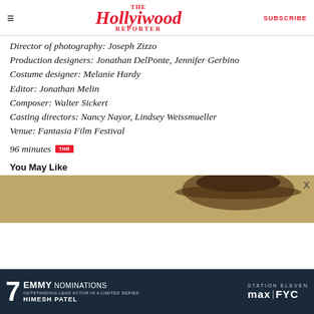The Hollywood Reporter | SUBSCRIBE
Director of photography: Joseph Zizzo
Production designers: Jonathan DelPonte, Jennifer Gerbino
Costume designer: Melanie Hardy
Editor: Jonathan Melin
Composer: Walter Sickert
Casting directors: Nancy Nayor, Lindsey Weissmueller
Venue: Fantasia Film Festival
96 minutes THR
You May Like
[Figure (photo): Partial image of a person, advertisement area with sandy/brown tones and a hat visible]
[Figure (infographic): Advertisement banner: 7 Emmy Nominations, Station Eleven, max|FYC, Outstanding Lead Actor in a Limited Series, Himesh Patel]